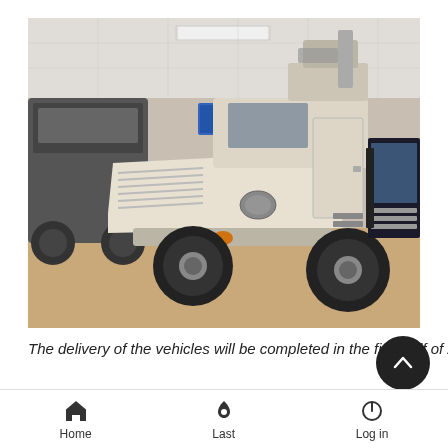[Figure (photo): Photo of a white armored military vehicle (MRAP/4x4 tactical vehicle) displayed indoors at what appears to be a defense exhibition. The vehicle has a remote weapon station mounted on top. Another armored vehicle is visible in the background on the left, along with exhibition displays on the right.]
The delivery of the vehicles will be completed in the first half of 2017. The vehicles will be in service to meet various requirements
Home   Last   Log in